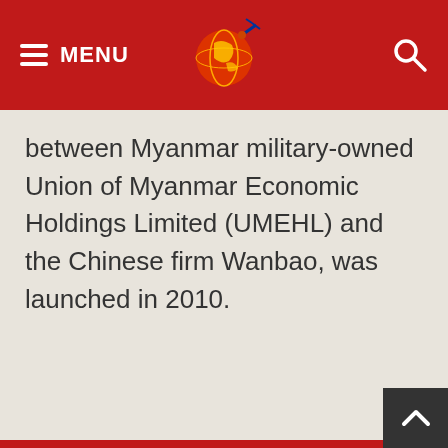MENU
between Myanmar military-owned Union of Myanmar Economic Holdings Limited (UMEHL) and the Chinese firm Wanbao, was launched in 2010.